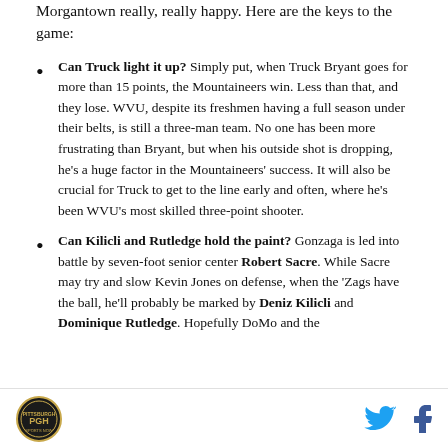Morgantown really, really happy. Here are the keys to the game:
Can Truck light it up? Simply put, when Truck Bryant goes for more than 15 points, the Mountaineers win. Less than that, and they lose. WVU, despite its freshmen having a full season under their belts, is still a three-man team. No one has been more frustrating than Bryant, but when his outside shot is dropping, he's a huge factor in the Mountaineers' success. It will also be crucial for Truck to get to the line early and often, where he's been WVU's most skilled three-point shooter.
Can Kilicli and Rutledge hold the paint? Gonzaga is led into battle by seven-foot senior center Robert Sacre. While Sacre may try and slow Kevin Jones on defense, when the 'Zags have the ball, he'll probably be marked by Deniz Kilicli and Dominique Rutledge. Hopefully DoMo and the...
Pittsburgh logo | Twitter icon | Facebook icon